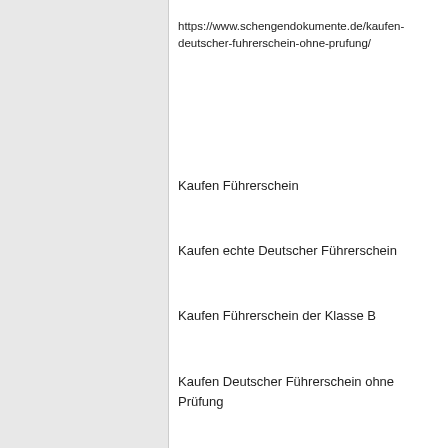https://www.schengendokumente.de/kaufen-deutscher-fuhrerschein-ohne-prufung/
Kaufen Führerschein
Kaufen echte Deutscher Führerschein
Kaufen Führerschein der Klasse B
Kaufen Deutscher Führerschein ohne Prüfung